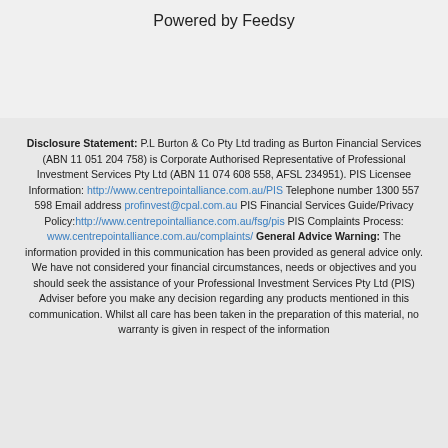Powered by Feedsy
Disclosure Statement: P.L Burton & Co Pty Ltd trading as Burton Financial Services (ABN 11 051 204 758) is Corporate Authorised Representative of Professional Investment Services Pty Ltd (ABN 11 074 608 558, AFSL 234951). PIS Licensee Information: http://www.centrepointalliance.com.au/PIS Telephone number 1300 557 598 Email address profinvest@cpal.com.au PIS Financial Services Guide/Privacy Policy:http://www.centrepointalliance.com.au/fsg/pis PIS Complaints Process: www.centrepointalliance.com.au/complaints/ General Advice Warning: The information provided in this communication has been provided as general advice only. We have not considered your financial circumstances, needs or objectives and you should seek the assistance of your Professional Investment Services Pty Ltd (PIS) Adviser before you make any decision regarding any products mentioned in this communication. Whilst all care has been taken in the preparation of this material, no warranty is given in respect of the information